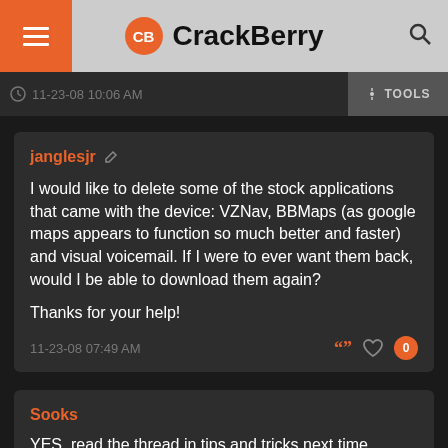CrackBerry
11-23-08 10:06 AM    TOOLS
janglesjr
I would like to delete some of the stock applications that came with the device: VZNav, BBMaps (as google maps appears to function so much better and faster) and visual voicemail. If I were to ever want them back, would I be able to download them again?

Thanks for your help!
11-23-08 07:49 AM
Sooks
YES. read the thread in tips and tricks next time